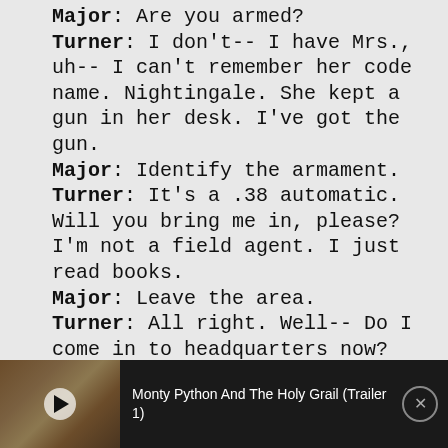Major: Are you armed?
Turner: I don't-- I have Mrs., uh-- I can't remember her code name. Nightingale. She kept a gun in her desk. I've got the gun.
Major: Identify the armament.
Turner: It's a .38 automatic. Will you bring me in, please? I'm not a field agent. I just read books.
Major: Leave the area.
Turner: All right. Well-- Do I come in to headquarters now?
Major: Negative. Find a secure...
[Figure (screenshot): Cookie consent banner overlay with dark background, title 'This website uses cookies' and description text about cookies usage.]
[Figure (screenshot): Video player bar showing a thumbnail of a medieval scene with a play button, title 'Monty Python And The Holy Grail (Trailer 1)', and a close (X) button on the right.]